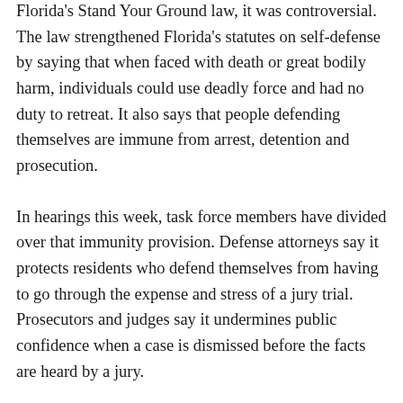Florida's Stand Your Ground law, it was controversial. The law strengthened Florida's statutes on self-defense by saying that when faced with death or great bodily harm, individuals could use deadly force and had no duty to retreat. It also says that people defending themselves are immune from arrest, detention and prosecution.
In hearings this week, task force members have divided over that immunity provision. Defense attorneys say it protects residents who defend themselves from having to go through the expense and stress of a jury trial. Prosecutors and judges say it undermines public confidence when a case is dismissed before the facts are heard by a jury.
In a hearing Thursday in Miami, Allie Braswell of the Urban League in central Florida urged the task force to recommend